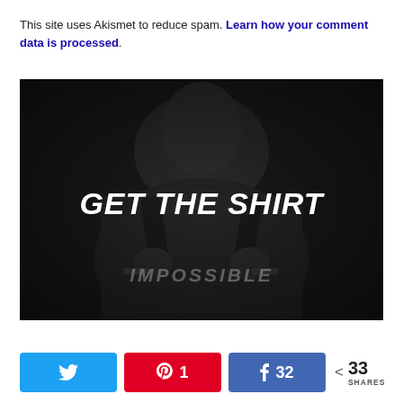This site uses Akismet to reduce spam. Learn how your comment data is processed.
[Figure (photo): Dark photo of a young man in a dark athletic shirt pulling it open to reveal text. Large white bold italic text overlay reads GET THE SHIRT. Below that, partially visible text on the shirt reads IMPOSSIBLE.]
Twitter share button, Pinterest 1, Facebook 32, < 33 SHARES